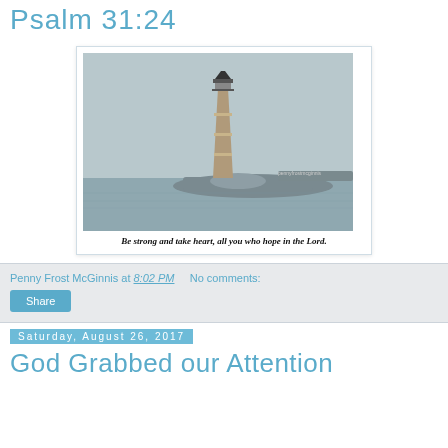Psalm 31:24
[Figure (photo): Photograph of a lighthouse on a rocky coastline with grey sky and calm water. Caption reads: Be strong and take heart, all you who hope in the Lord.]
Be strong and take heart, all you who hope in the Lord.
Penny Frost McGinnis at 8:02 PM   No comments:
Share
Saturday, August 26, 2017
God Grabbed our Attention